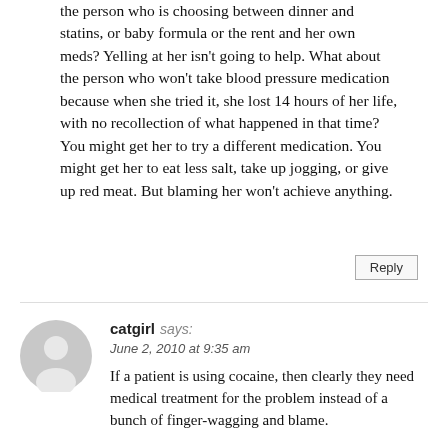the person who is choosing between dinner and statins, or baby formula or the rent and her own meds? Yelling at her isn't going to help. What about the person who won't take blood pressure medication because when she tried it, she lost 14 hours of her life, with no recollection of what happened in that time? You might get her to try a different medication. You might get her to eat less salt, take up jogging, or give up red meat. But blaming her won't achieve anything.
Reply
catgirl says:
June 2, 2010 at 9:35 am
If a patient is using cocaine, then clearly they need medical treatment for the problem instead of a bunch of finger-wagging and blame.